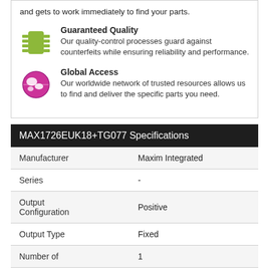and gets to work immediately to find your parts.
Guaranteed Quality
Our quality-control processes guard against counterfeits while ensuring reliability and performance.
Global Access
Our worldwide network of trusted resources allows us to find and deliver the specific parts you need.
MAX1726EUK18+TG077 Specifications
|  |  |
| --- | --- |
| Manufacturer | Maxim Integrated |
| Series | - |
| Output Configuration | Positive |
| Output Type | Fixed |
| Number of | 1 |